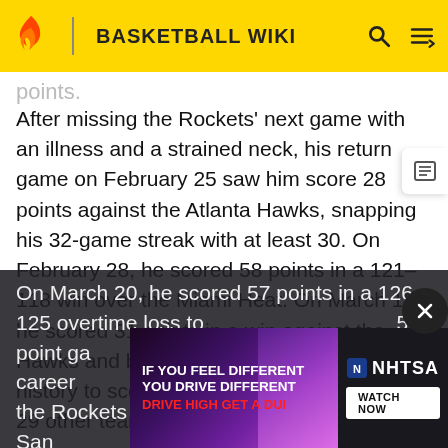BASKETBALL WIKI
points.
After missing the Rockets' next game with an illness and a strained neck, his return game on February 25 saw him score 28 points against the Atlanta Hawks, snapping his 32-game streak with at least 30. On February 28, he scored 58 points in a 121-118 win over the Miami Heat. On March 19, he scored 31 points in a win against the Hawks and became the first player in NBA history to score 30 or more points against all 29 other teams in a single season. On March 20, he scored 57 points in a 126-125 overtime loss to ... 50-point games ... ined his career ... quarter. to lead the Rockets to a 111-105 victory over the San
[Figure (infographic): NHTSA advertisement: IF YOU FEEL DIFFERENT YOU DRIVE DIFFERENT DRIVE HIGH GET A DUI with NHTSA WATCH NOW button]